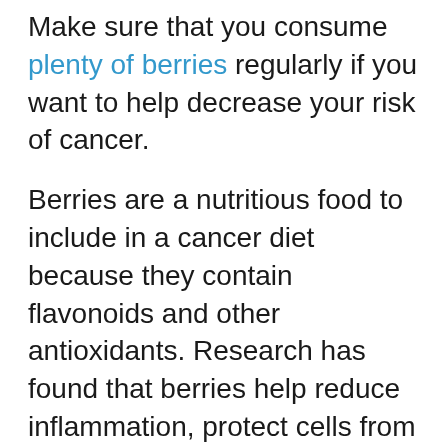Make sure that you consume plenty of berries regularly if you want to help decrease your risk of cancer.
Berries are a nutritious food to include in a cancer diet because they contain flavonoids and other antioxidants. Research has found that berries help reduce inflammation, protect cells from DNA damage, and can kill off malignant cells. Some studies have found that berry juices can also lower the risk of cancer. (31)
Extracts from berries such as blueberries and mulberries have been linked to the reduction of colon cancer and prostate cancer. (32)
Blueberries help prevent cancer